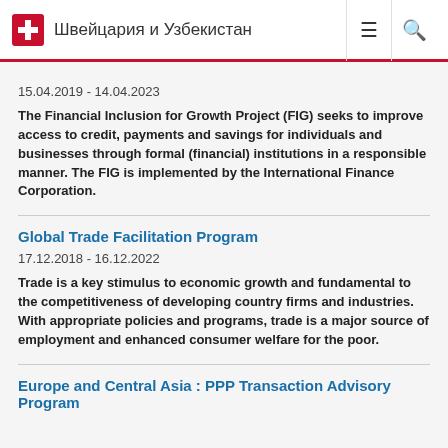Швейцария и Узбекистан
15.04.2019 - 14.04.2023
The Financial Inclusion for Growth Project (FIG) seeks to improve access to credit, payments and savings for individuals and businesses through formal (financial) institutions in a responsible manner. The FIG is implemented by the International Finance Corporation.
Global Trade Facilitation Program
17.12.2018 - 16.12.2022
Trade is a key stimulus to economic growth and fundamental to the competitiveness of developing country firms and industries. With appropriate policies and programs, trade is a major source of employment and enhanced consumer welfare for the poor.
Europe and Central Asia : PPP Transaction Advisory Program